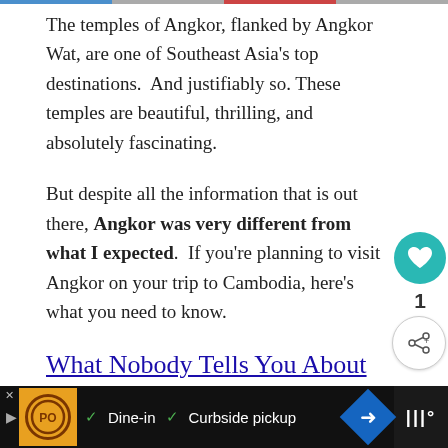The temples of Angkor, flanked by Angkor Wat, are one of Southeast Asia's top destinations.  And justifiably so.  These temples are beautiful, thrilling, and absolutely fascinating.
But despite all the information that is out there, Angkor was very different from what I expected.  If you're planning to visit Angkor on your trip to Cambodia, here's what you need to know.
What Nobody Tells You About Angkor
1) You need to be in good shape.
[Figure (other): Heart/like button (teal circle), share button, and What's Next panel showing Kayaking in Antarctica article]
[Figure (other): Advertisement banner at bottom: restaurant ad with logo, Dine-in, Curbside pickup options]